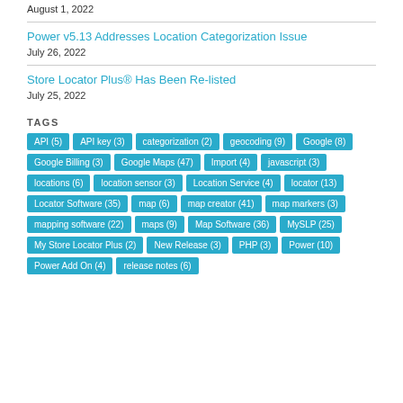Power v5.13 Addresses Location Categorization Issue
July 26, 2022
Store Locator Plus® Has Been Re-listed
July 25, 2022
TAGS
API (5)
API key (3)
categorization (2)
geocoding (9)
Google (8)
Google Billing (3)
Google Maps (47)
Import (4)
javascript (3)
locations (6)
location sensor (3)
Location Service (4)
locator (13)
Locator Software (35)
map (6)
map creator (41)
map markers (3)
mapping software (22)
maps (9)
Map Software (36)
MySLP (25)
My Store Locator Plus (2)
New Release (3)
PHP (3)
Power (10)
Power Add On (4)
release notes (6)